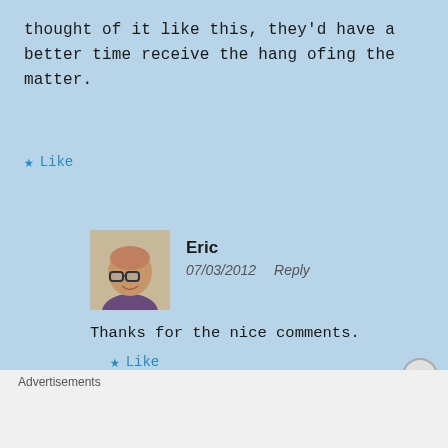thought of it like this, they'd have a better time receive the hang ofing the matter.
★ Like
Eric
07/03/2012   Reply
Thanks for the nice comments.
★ Like
Advertisements
[Figure (logo): WooCommerce advertisement banner: How to start selling subscriptions online]